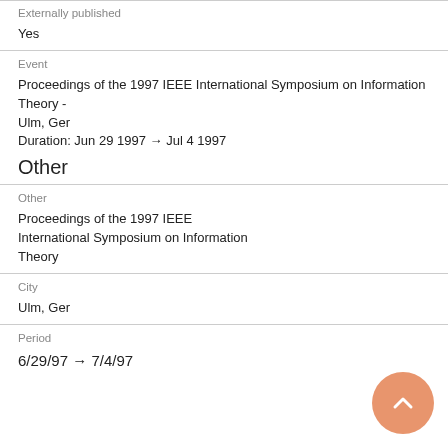Externally published
Yes
Event
Proceedings of the 1997 IEEE International Symposium on Information Theory - Ulm, Ger
Duration: Jun 29 1997 → Jul 4 1997
Other
Other
Proceedings of the 1997 IEEE International Symposium on Information Theory
City
Ulm, Ger
Period
6/29/97 → 7/4/97